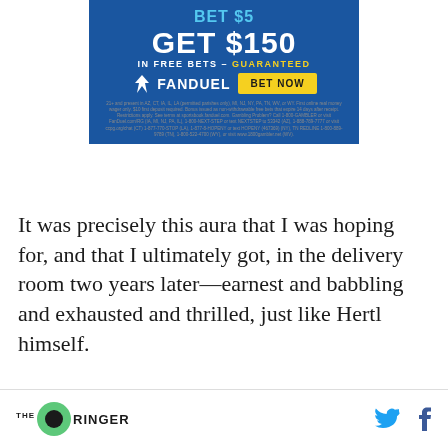[Figure (infographic): FanDuel advertisement banner. Blue background with text 'BET $5 GET $150 IN FREE BETS - GUARANTEED' with FanDuel logo and 'BET NOW' yellow button. Disclaimer text below.]
It was precisely this aura that I was hoping for, and that I ultimately got, in the delivery room two years later—earnest and babbling and exhausted and thrilled, just like Hertl himself.
THE RINGER [logo] [Twitter icon] [Facebook icon]